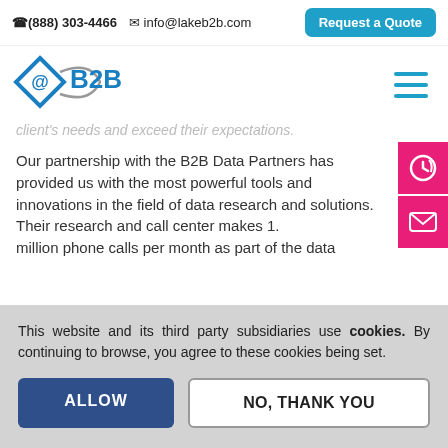📞 (888) 303-4466  ✉ info@lakeb2b.com  Request a Quote
[Figure (logo): Lake B2B logo with blue diamond shape containing @ symbol and B2B text with grey arc]
client's needs and exceed their expectations.
Our partnership with the B2B Data Partners has provided us with the most powerful tools and innovations in the field of data research and solutions. Their research and call center makes 1. million phone calls per month as part of the data
This website and its third party subsidiaries use cookies. By continuing to browse, you agree to these cookies being set.